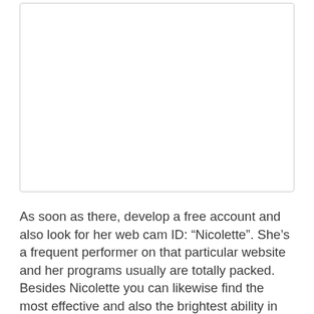[Figure (other): A white rectangular image placeholder with a light gray border and rounded corners.]
As soon as there, develop a free account and also look for her web cam ID: “Nicolette”. She’s a frequent performer on that particular website and her programs usually are totally packed. Besides Nicolette you can likewise find the most effective and also the brightest ability in the sector, ready to leave no stone unchecked as well as strut their wonderful